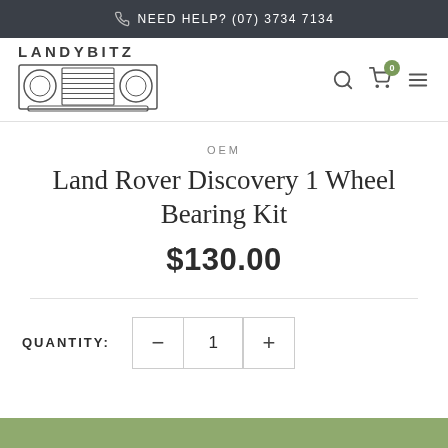NEED HELP? (07) 3734 7134
[Figure (logo): Landybitz logo with text 'LANDYBITZ' and a stylized headlamp/grille icon below]
OEM
Land Rover Discovery 1 Wheel Bearing Kit
$130.00
QUANTITY: 1